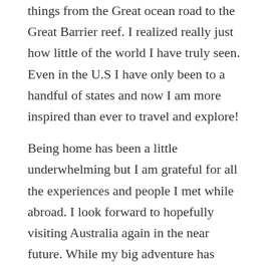things from the Great ocean road to the Great Barrier reef. I realized really just how little of the world I have truly seen. Even in the U.S I have only been to a handful of states and now I am more inspired than ever to travel and explore!
Being home has been a little underwhelming but I am grateful for all the experiences and people I met while abroad. I look forward to hopefully visiting Australia again in the near future. While my big adventure has ended I am looking forward to next one!
[Figure (photo): Close-up photo of a person with curly dark hair against a light grey/cloudy sky background, photo cropped at bottom of frame]